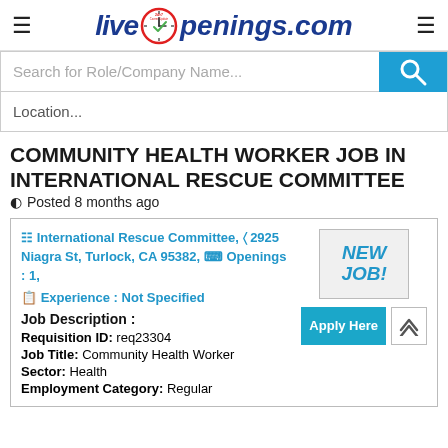LiveOpenings.com
Search for Role/Company Name...
Location...
COMMUNITY HEALTH WORKER JOB IN INTERNATIONAL RESCUE COMMITTEE
Posted 8 months ago
International Rescue Committee, 2925 Niagra St, Turlock, CA 95382, Openings : 1, Experience : Not Specified
Job Description :
Requisition ID: req23304
Job Title: Community Health Worker
Sector: Health
Employment Category: Regular